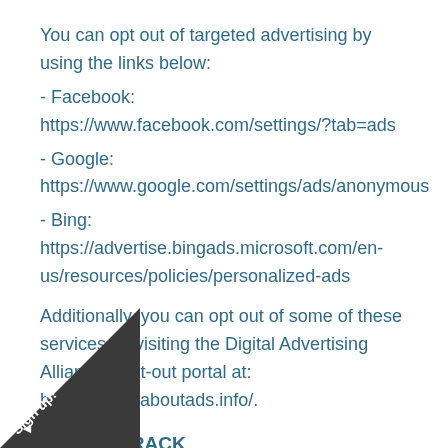You can opt out of targeted advertising by using the links below:
- Facebook: https://www.facebook.com/settings/?tab=ads
- Google: https://www.google.com/settings/ads/anonymous
- Bing: https://advertise.bingads.microsoft.com/en-us/resources/policies/personalized-ads
Additionally, you can opt out of some of these services by visiting the Digital Advertising Alliance's opt-out portal at: http://optout.aboutads.info/.
DO NOT TRACK
Please note that we do not alter our Site's data collection and practices when we see a Do Not Track signal from your